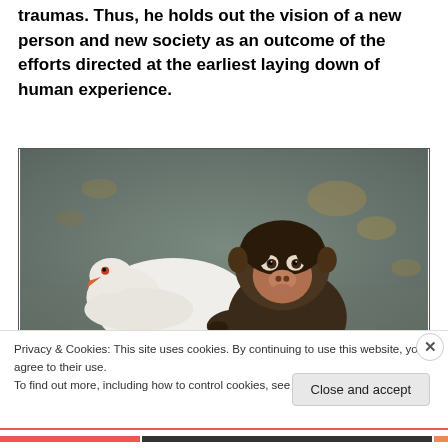traumas. Thus, he holds out the vision of a new person and new society as an outcome of the efforts directed at the earliest laying down of human experience.
[Figure (photo): A baby monkey resting its head and arms on a white bird (dove or pigeon), both photographed against a blurred grey/green background.]
Privacy & Cookies: This site uses cookies. By continuing to use this website, you agree to their use.
To find out more, including how to control cookies, see here: Cookie Policy
Close and accept